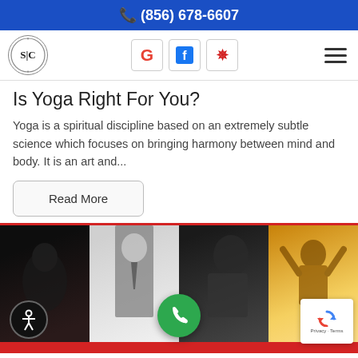(856) 678-6607
[Figure (logo): SC circular logo with text around the border]
[Figure (infographic): Navigation bar with Google, Facebook, and Yelp social icons plus hamburger menu]
Is Yoga Right For You?
Yoga is a spiritual discipline based on an extremely subtle science which focuses on bringing harmony between mind and body. It is an art and...
Read More
[Figure (photo): Bottom image strip showing four panels: person hunched in dark, businessman giving thumbs up, dark profile of woman, backlit person with arms raised. Below is a red bar partially cut off.]